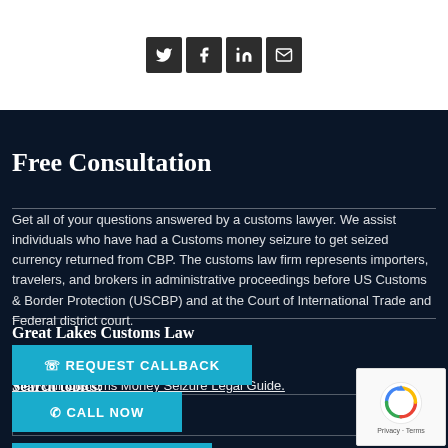Social icons: Twitter, Facebook, LinkedIn, Email
Free Consultation
Get all of your questions answered by a customs lawyer. We assist individuals who have had a Customs money seizure to get seized currency returned from CBP. The customs law firm represents importers, travelers, and brokers in administrative proceedings before US Customs & Border Protection (USCBP) and at the Court of International Trade and Federal district court.
Great Lakes Customs Law
☎ REQUEST CALLBACK
✆ CALL NOW
Search topics:
⊙ CLICK TO CHAT
View our Customs Money Seizure Legal Guide.
Search ...